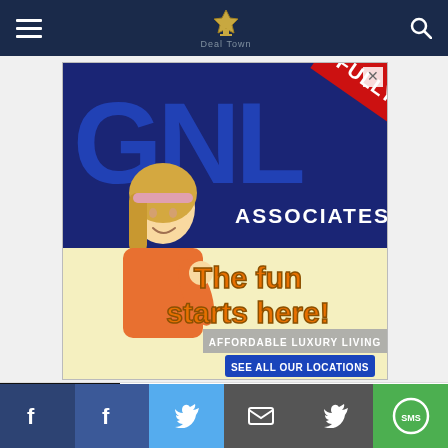Navigation bar with hamburger menu, site logo, and search icon
[Figure (infographic): GNL Associates advertisement banner: 'FULLY RENTED' diagonal red banner, large blue GNL letters, woman in orange shirt, yellow background with text 'The fun starts here!', 'AFFORDABLE LUXURY LIVING', and 'SEE ALL OUR LOCATIONS' button]
[Figure (infographic): Bottom native ad: black luxury sports car image with text 'All-New Luxury SUVs (Take a Look at the Prices)' and 'Crossover SUV | Search Ads | Sponsored']
Social share bar with Facebook, Facebook, Twitter, email, Twitter, SMS buttons